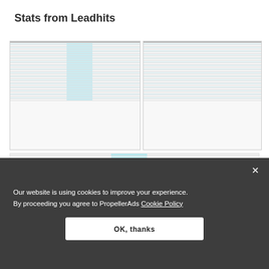Stats from Leadhits
[Figure (screenshot): Screenshot of a data analytics table with multiple columns showing statistics, with some columns highlighted in light blue]
[Figure (screenshot): Screenshot of a second data analytics table with multiple columns showing statistics]
[Figure (table-as-image): Partial view of a data table with date rows like 2019-05-21, 2019-05-26, etc. and numeric columns including values like 94, 152, 1820, 3879, 8760, 14265, etc.]
Our website is using cookies to improve your experience. By proceeding you agree to PropellerAds Cookie Policy
OK, thanks